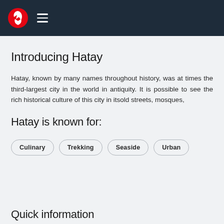Turkish Airlines navigation header with logo and hamburger menu
Introducing Hatay
Hatay, known by many names throughout history, was at times the third-largest city in the world in antiquity. It is possible to see the rich historical culture of this city in itsold streets, mosques,
Hatay is known for:
Culinary
Trekking
Seaside
Urban
Quick information